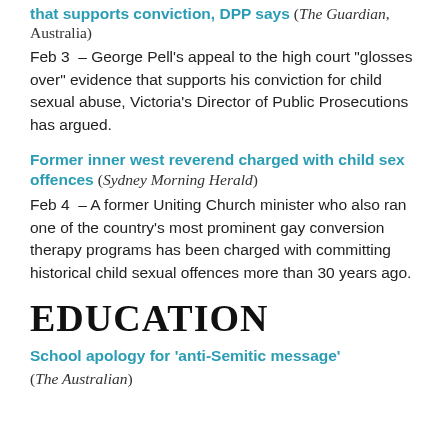that supports conviction, DPP says (The Guardian, Australia)
Feb 3 – George Pell's appeal to the high court "glosses over" evidence that supports his conviction for child sexual abuse, Victoria's Director of Public Prosecutions has argued.
Former inner west reverend charged with child sex offences (Sydney Morning Herald)
Feb 4 – A former Uniting Church minister who also ran one of the country's most prominent gay conversion therapy programs has been charged with committing historical child sexual offences more than 30 years ago.
EDUCATION
School apology for 'anti-Semitic message' (The Australian)